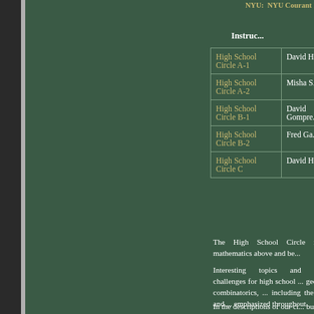NYU: NYU Courant In...
Instruct...
|  | Instructor |
| --- | --- |
| High School Circle A-1 | David H... |
| High School Circle A-2 | Misha S... |
| High School Circle B-1 | David Gompre... |
| High School Circle B-2 | Fred Ga... |
| High School Circle C | David H... |
The High School Circle is d... mathematics above and be...
Interesting topics and intrig... challenges for high school ... geometry, combinatorics, ... including the nature and ... emphasized throughout.
In the descriptions of our ci... but this is less important ... sometimes seniors in our ... sophomores, as well as yo... B and C. If in doubt, pleas...